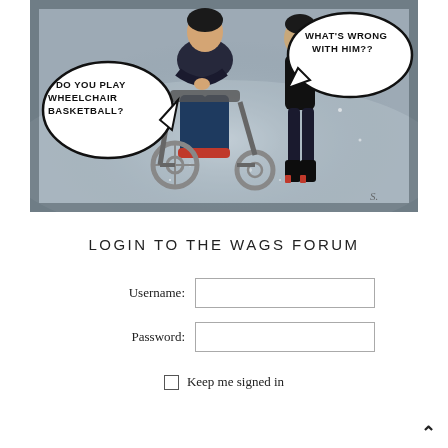[Figure (illustration): Comic-style illustration of a person in a wheelchair with another person standing beside them. Two speech bubbles read: 'DO YOU PLAY WHEELCHAIR BASKETBALL?' and 'WHAT'S WRONG WITH HIM??' The background has a swirling grey/blue gradient with sparkles.]
LOGIN TO THE WAGS FORUM
Username:
Password:
Keep me signed in